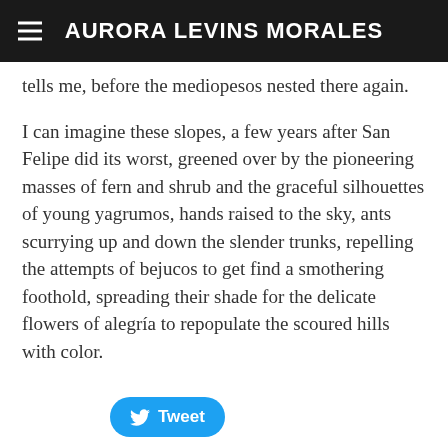AURORA LEVINS MORALES
uprooted half the pines on our land and it was ten years, he tells me, before the mediopesos nested there again.
I can imagine these slopes, a few years after San Felipe did its worst, greened over by the pioneering masses of fern and shrub and the graceful silhouettes of young yagrumos, hands raised to the sky, ants scurrying up and down the slender trunks, repelling the attempts of bejucos to get find a smothering foothold, spreading their shade for the delicate flowers of alegría to repopulate the scoured hills with color.
[Figure (other): Tweet button with Twitter bird icon]
0 Comments
Are you now or have you ever been?